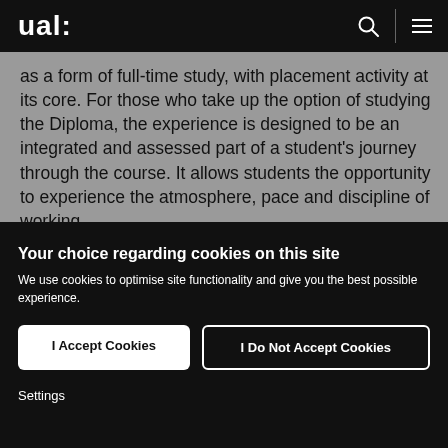ual:
as a form of full-time study, with placement activity at its core. For those who take up the option of studying the Diploma, the experience is designed to be an integrated and assessed part of a student's journey through the course. It allows students the opportunity to experience the atmosphere, pace and discipline of working
Your choice regarding cookies on this site
We use cookies to optimise site functionality and give you the best possible experience.
I Accept Cookies
I Do Not Accept Cookies
Settings